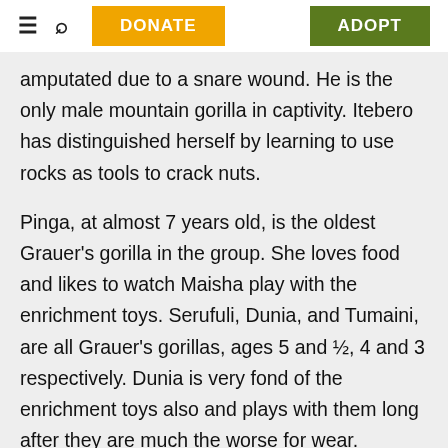≡ 🔍 DONATE ADOPT
amputated due to a snare wound. He is the only male mountain gorilla in captivity. Itebero has distinguished herself by learning to use rocks as tools to crack nuts.
Pinga, at almost 7 years old, is the oldest Grauer's gorilla in the group. She loves food and likes to watch Maisha play with the enrichment toys. Serufuli, Dunia, and Tumaini, are all Grauer's gorillas, ages 5 and ½, 4 and 3 respectively. Dunia is very fond of the enrichment toys also and plays with them long after they are much the worse for wear. Serufuli and Tumaini, the youngest, are quieter; Tumaini still needs a lot of comfort from her caregivers but is